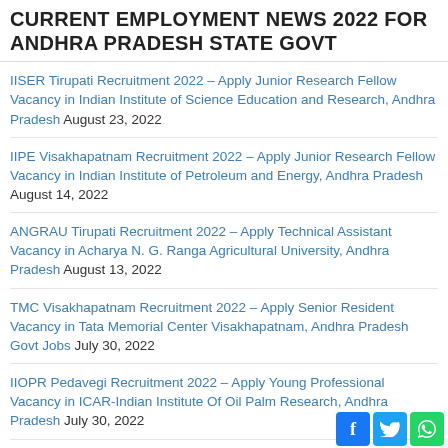CURRENT EMPLOYMENT NEWS 2022 FOR ANDHRA PRADESH STATE GOVT
IISER Tirupati Recruitment 2022 – Apply Junior Research Fellow Vacancy in Indian Institute of Science Education and Research, Andhra Pradesh August 23, 2022
IIPE Visakhapatnam Recruitment 2022 – Apply Junior Research Fellow Vacancy in Indian Institute of Petroleum and Energy, Andhra Pradesh August 14, 2022
ANGRAU Tirupati Recruitment 2022 – Apply Technical Assistant Vacancy in Acharya N. G. Ranga Agricultural University, Andhra Pradesh August 13, 2022
TMC Visakhapatnam Recruitment 2022 – Apply Senior Resident Vacancy in Tata Memorial Center Visakhapatnam, Andhra Pradesh Govt Jobs July 30, 2022
IIOPR Pedavegi Recruitment 2022 – Apply Young Professional Vacancy in ICAR-Indian Institute Of Oil Palm Research, Andhra Pradesh July 30, 2022
UCIL Kadapa Recruitment 2022 – Apply Medical Officer Vacancy in Uranium Corporation of India Limited, Andhra Pradesh July 30, 2022